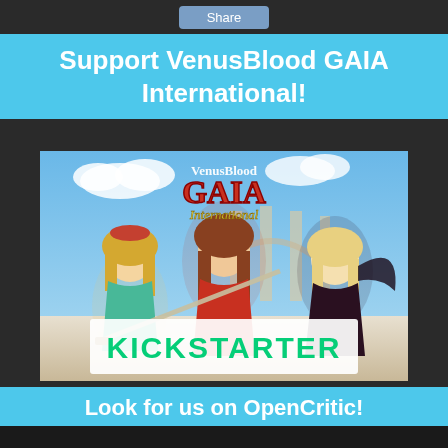Share
Support VenusBlood GAIA International!
[Figure (illustration): VenusBlood GAIA International game artwork showing three anime-style female characters in fantasy costumes, with the game logo at the top and the Kickstarter logo at the bottom]
Look for us on OpenCritic!